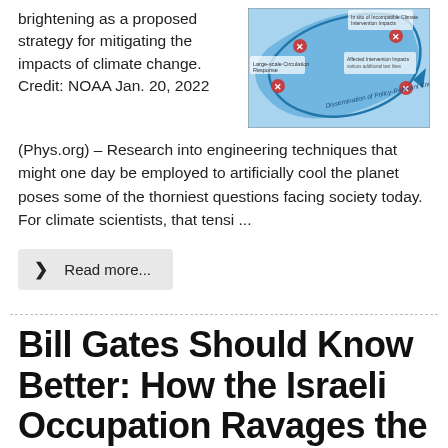brightening as a proposed strategy for mitigating the impacts of climate change. Credit: NOAA Jan. 20, 2022
[Figure (schematic): Diagram showing a climate engineering / marine cloud brightening schematic with blue arrows and labeled components indicating atmospheric and oceanic processes.]
(Phys.org) – Research into engineering techniques that might one day be employed to artificially cool the planet poses some of the thorniest questions facing society today. For climate scientists, that tensi ...
❯  Read more...
Bill Gates Should Know Better: How the Israeli Occupation Ravages the